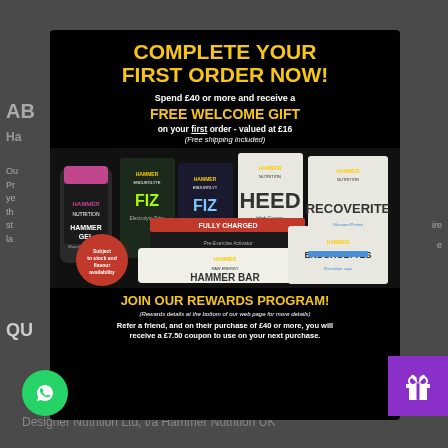COMPLETE YOUR FIRST ORDER NOW!
Spend £40 or more and receive a FREE WELCOME GIFT on your first order - valued at £16 (Free shipping included)
[Figure (photo): Hammer Nutrition product lineup: Hammer Gel, Endurolyte Fizz x2, Heed, Recoverite, Fully Charged, Hammer Bar, Endurolytes packets arranged on black background. Red circular badge reads Subject to stock and flavour availability.]
JOIN OUR REWARDS PROGRAM! (Rewards details at the bottom of our web page for more details) Refer a friend, and on their purchase of £40 or more, you will receive a £7.50 coupon to use on your next purchase.
ernutrition.co.uk
Designer Nutrition Ltd, t/a Hammer Nutrition UK